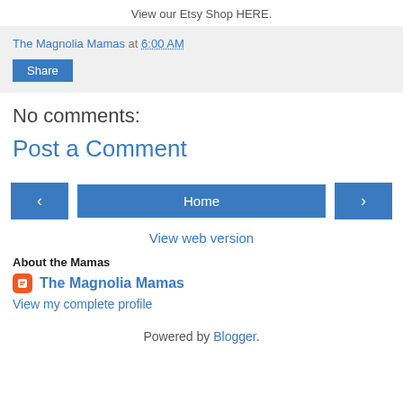View our Etsy Shop HERE.
The Magnolia Mamas at 6:00 AM
Share
No comments:
Post a Comment
‹  Home  ›
View web version
About the Mamas
The Magnolia Mamas
View my complete profile
Powered by Blogger.